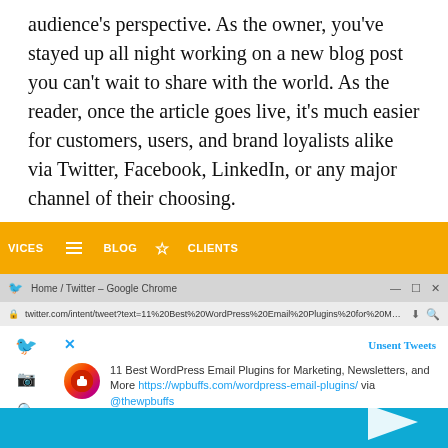audience's perspective. As the owner, you've stayed up all night working on a new blog post you can't wait to share with the world. As the reader, once the article goes live, it's much easier for customers, users, and brand loyalists alike via Twitter, Facebook, LinkedIn, or any major channel of their choosing.
[Figure (screenshot): Screenshot of a Twitter/X website interface showing a tweet compose dialog. The browser shows twitter.com/intent/tweet with a compose window containing the text '11 Best WordPress Email Plugins for Marketing, Newsletters, and More https://wpbuffs.com/wordpress-email-plugins/ via @thewpbuffs'. The interface has a yellow navigation bar at the top with VICES, BLOG, and CLIENTS menu items, Twitter sidebar icons, and a blue Tweet button.]